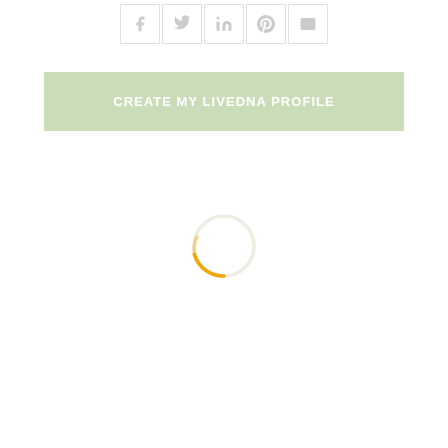[Figure (other): Social sharing icons row: Facebook, Twitter, LinkedIn, Pinterest, Email — light gray outlined icons with thin borders]
CREATE MY LIVEDNA PROFILE
[Figure (other): Loading spinner — thin circle outline, mostly light/white with an orange/amber arc segment on the lower-left portion]